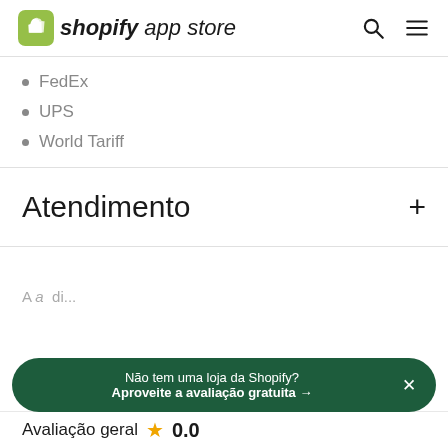shopify app store
FedEx
UPS
World Tariff
Atendimento
Não tem uma loja da Shopify? Aproveite a avaliação gratuita →
Avaliação geral ★ 0.0